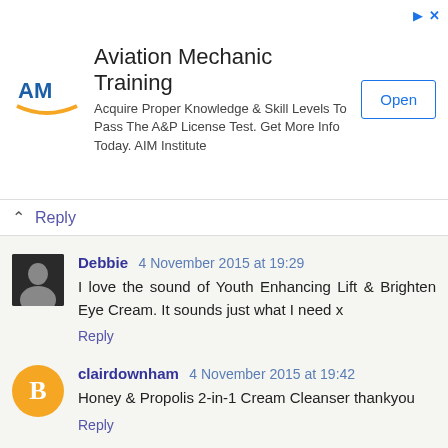[Figure (infographic): Aviation Mechanic Training advertisement banner with AIM Institute logo, text and Open button]
Reply
Debbie 4 November 2015 at 19:29
I love the sound of Youth Enhancing Lift & Brighten Eye Cream. It sounds just what I need x
Reply
clairdownham 4 November 2015 at 19:42
Honey & Propolis 2-in-1 Cream Cleanser thankyou
Reply
lozzle 4 November 2015 at 19:45